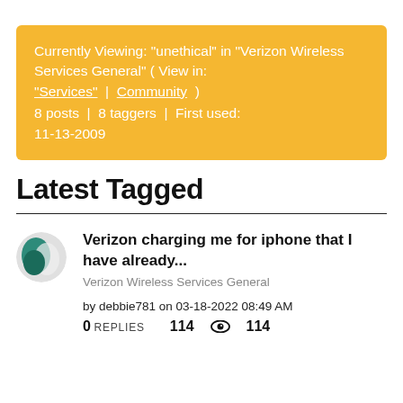Currently Viewing: "unethical" in "Verizon Wireless Services General" ( View in: "Services" | Community ) 8 posts | 8 taggers | First used: 11-13-2009
Latest Tagged
Verizon charging me for iphone that I have already...
Verizon Wireless Services General
by debbie781 on 03-18-2022 08:49 AM
0 REPLIES  114  114